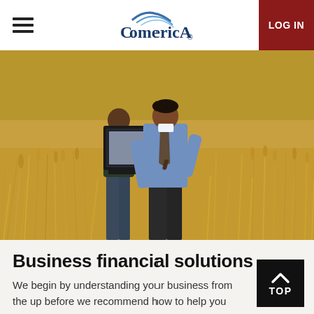Comerica — LOG IN
[Figure (photo): Two businessmen standing in a golden wheat field, one holding open a laptop computer. The man on the right wears a blue dress shirt and tie.]
Business financial solutions
We begin by understanding your business from the up before we recommend how to help you grow.